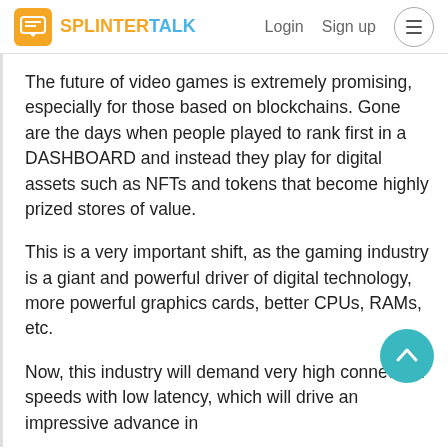SPLINTERTALK | Login | Sign up
The future of video games is extremely promising, especially for those based on blockchains. Gone are the days when people played to rank first in a DASHBOARD and instead they play for digital assets such as NFTs and tokens that become highly prized stores of value.
This is a very important shift, as the gaming industry is a giant and powerful driver of digital technology, more powerful graphics cards, better CPUs, RAMs, etc.
Now, this industry will demand very high connection speeds with low latency, which will drive an impressive advance in